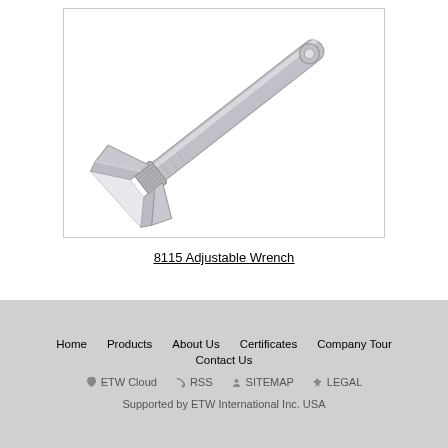[Figure (photo): Photo of a chrome/silver adjustable wrench (8115 Adjustable Wrench) set against a white background, shown diagonally from upper-left to lower-right, with the jaw/head at upper left and the handle ring at lower right.]
8115 Adjustable Wrench
Home   Products   About Us   Certificates   Company Tour   Contact Us   ETW Cloud   RSS   SITEMAP   LEGAL   Supported by ETW International Inc. USA